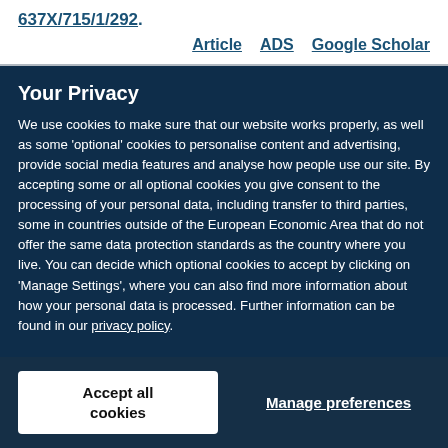637X/715/1/292 .
Article   ADS   Google Scholar
Your Privacy
We use cookies to make sure that our website works properly, as well as some ‘optional’ cookies to personalise content and advertising, provide social media features and analyse how people use our site. By accepting some or all optional cookies you give consent to the processing of your personal data, including transfer to third parties, some in countries outside of the European Economic Area that do not offer the same data protection standards as the country where you live. You can decide which optional cookies to accept by clicking on ‘Manage Settings’, where you can also find more information about how your personal data is processed. Further information can be found in our privacy policy.
Accept all cookies
Manage preferences